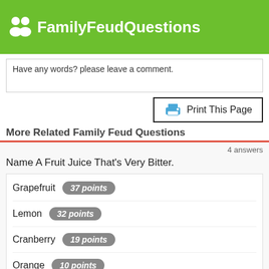FamilyFeudQuestions
Have any words? please leave a comment.
Print This Page
More Related Family Feud Questions
4 answers
Name A Fruit Juice That's Very Bitter.
Grapefruit  37 points
Lemon  32 points
Cranberry  19 points
Orange  10 points